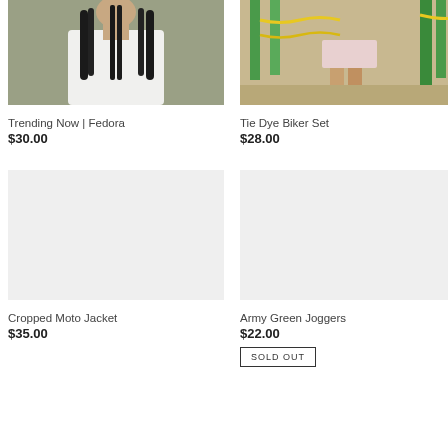[Figure (photo): Person wearing white top with braided hair, outdoor background]
Trending Now | Fedora
$30.00
[Figure (photo): Person at playground with chains visible, outdoor background]
Tie Dye Biker Set
$28.00
[Figure (photo): Placeholder light gray image for Cropped Moto Jacket]
Cropped Moto Jacket
$35.00
[Figure (photo): Placeholder light gray image for Army Green Joggers]
Army Green Joggers
$22.00
SOLD OUT